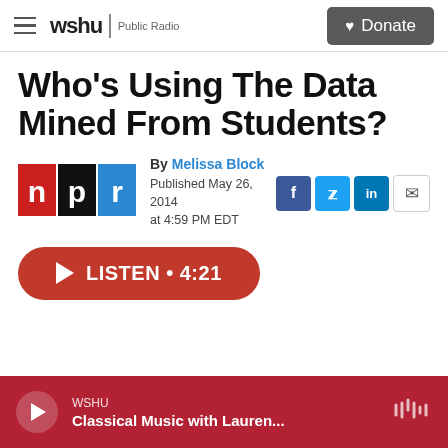wshu | Public Radio  [Donate button]
Who's Using The Data Mined From Students?
By Melissa Block
Published May 26, 2014 at 4:59 PM EDT
LISTEN • 4:21
WSHU
Classical Music with Lauren...